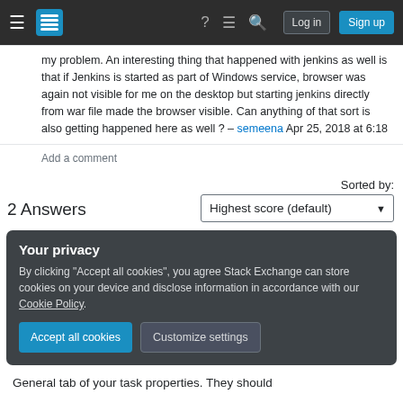Stack Exchange navigation bar with hamburger menu, logo, help, chat, search icons, Log in and Sign up buttons
my problem. An interesting thing that happened with jenkins as well is that if Jenkins is started as part of Windows service, browser was again not visible for me on the desktop but starting jenkins directly from war file made the browser visible. Can anything of that sort is also getting happened here as well ? – semeena Apr 25, 2018 at 6:18
Add a comment
2 Answers
Sorted by:
Highest score (default)
Your privacy
By clicking "Accept all cookies", you agree Stack Exchange can store cookies on your device and disclose information in accordance with our Cookie Policy.
Accept all cookies
Customize settings
General tab of your task properties. They should